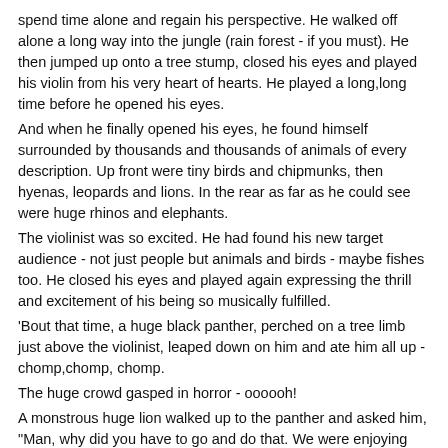spend time alone and regain his perspective. He walked off alone a long way into the jungle (rain forest - if you must). He then jumped up onto a tree stump, closed his eyes and played his violin from his very heart of hearts. He played a long,long time before he opened his eyes.
And when he finally opened his eyes, he found himself surrounded by thousands and thousands of animals of every description. Up front were tiny birds and chipmunks, then hyenas, leopards and lions. In the rear as far as he could see were huge rhinos and elephants.
The violinist was so excited. He had found his new target audience - not just people but animals and birds - maybe fishes too. He closed his eyes and played again expressing the thrill and excitement of his being so musically fulfilled.
'Bout that time, a huge black panther, perched on a tree limb just above the violinist, leaped down on him and ate him all up - chomp,chomp, chomp.
The huge crowd gasped in horror - oooooh!
A monstrous huge lion walked up to the panther and asked him, "Man, why did you have to go and do that. We were enjoying the music."
The panther put his paw up next to his ear and said, "Huh?"
We pronounce it "Guf Coast".
Ya'll wanna go down to the Guf?